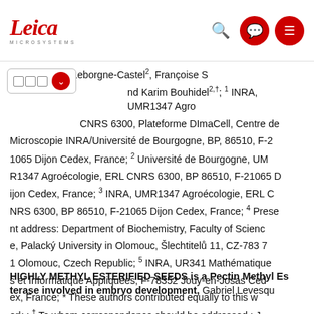Leica Microsystems – navigation bar with logo, search, and menu icons
iéu³, Nathalie Leborgne-Castel², Françoise S nd Karim Bouhidel²,†; ¹ INRA, UMR1347 Agro CNRS 6300, Plateforme DImaCell, Centre de Microscopie INRA/Université de Bourgogne, BP, 86510, F-21065 Dijon Cedex, France; ² Université de Bourgogne, UMR1347 Agroécologie, ERL CNRS 6300, BP 86510, F-21065 Dijon Cedex, France; ³ INRA, UMR1347 Agroécologie, ERL CNRS 6300, BP 86510, F-21065 Dijon Cedex, France; ⁴ Present address: Department of Biochemistry, Faculty of Science, Palacký University in Olomouc, Šlechtitelů 11, CZ-783 71 Olomouc, Czech Republic; ⁵ INRA, UR341 Mathématiques et Informatique Appliquées, F-78352 Jouy-en-Josas Cedex, France; * These authors contributed equally to this work.; † To whom correspondence should be addressed.; Journal of Experimental Botany, doi:10.1093/jxb/eru265; http://jxb.oxfordjournals.org/content/early/2014/06/30/jxb.eru265.short
HIGHLY METHYL ESTERIFIED SEEDS is a Pectin Methyl Esterase involved in embryo development, Gabriel Levesqu